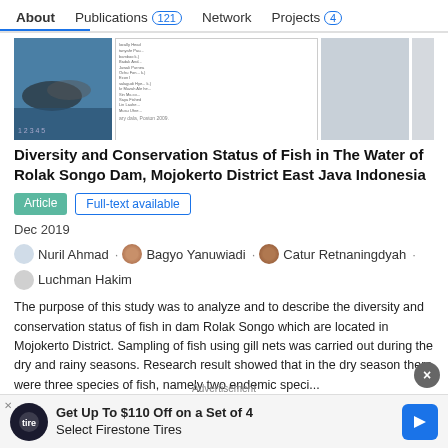About   Publications 121   Network   Projects 4
[Figure (screenshot): Thumbnail preview of a research paper showing a fish image and a data table]
Diversity and Conservation Status of Fish in The Water of Rolak Songo Dam, Mojokerto District East Java Indonesia
Article   Full-text available
Dec 2019
Nuril Ahmad · Bagyo Yanuwiadi · Catur Retnaningdyah · Luchman Hakim
The purpose of this study was to analyze and to describe the diversity and conservation status of fish in dam Rolak Songo which are located in Mojokerto District. Sampling of fish using gill nets was carried out during the dry and rainy seasons. Research result showed that in the dry season there were three species of fish, namely two endemic speci...